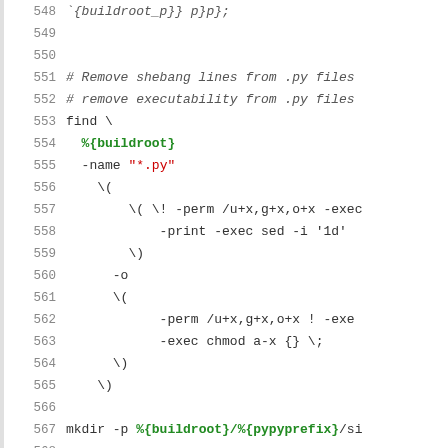Source code listing lines 548-572, shell/RPM spec script content